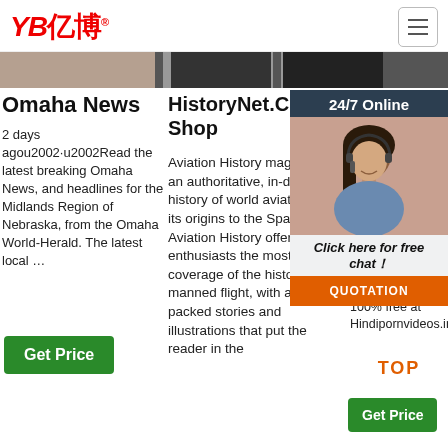YB亿博
[Figure (screenshot): Horizontal image strip showing partial photos of three items]
Omaha News
2 days agou2002·u2002Read the latest breaking Omaha News, and headlines for the Midlands Region of Nebraska, from the Omaha World-Herald. The latest local …
[Figure (other): Get Price green button]
HistoryNet.Com Ind Shop
Aviation History magazine is an authoritative, in-depth history of world aviation from its origins to the Space Age. Aviation History offers air enthusiasts the most detailed coverage of the history of manned flight, with action-packed stories and illustrations that put the reader in the
Mo De Ho XX Ho
Wat ove xxx Indi can be downloaded 100% free at Hindipornvideos.info
[Figure (photo): Chat widget with woman in headset, 24/7 Online label, Click here for free chat, QUOTATION button]
[Figure (other): TOP label in orange]
[Figure (other): Get Price green button]